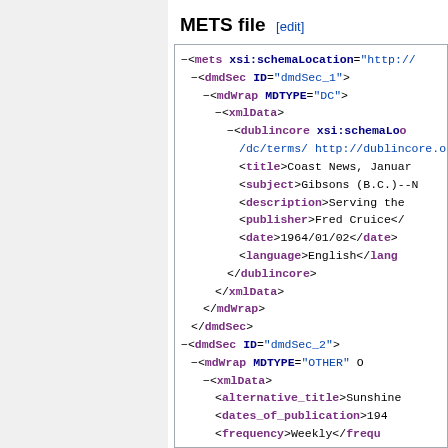METS file [edit]
XML code block showing METS file structure with dmdSec elements containing Dublin Core and alternative metadata including title (Coast News, January...), subject (Gibsons (B.C.)--N...), description (Serving the...), publisher (Fred Cruice<...), date (1964/01/02), language (English), and second dmdSec with alternative_title (Sunshine...), dates_of_publication (194...), frequency (Weekly)